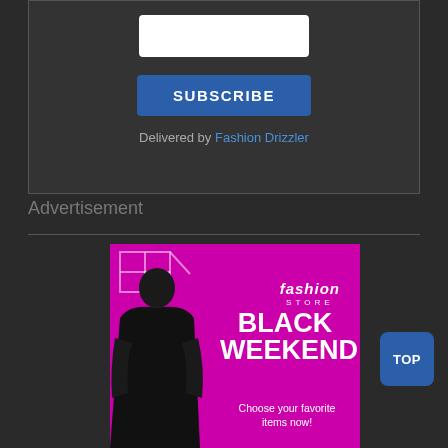[Figure (screenshot): Dark-themed subscription widget with white email input field, blue SUBSCRIBE button, and 'Delivered by Fashion Drizzler' text]
Delivered by Fashion Drizzler
Advertisement
[Figure (illustration): Fashion Store advertisement banner with magenta/pink background, geometric line art in top-left corner, woman in black leather jacket on the left side, 'fashion STORE' logo, and text reading 'BLACK WEEKEND - Choose your favorite items now!']